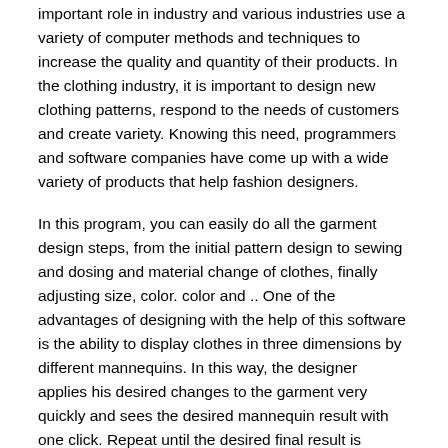important role in industry and various industries use a variety of computer methods and techniques to increase the quality and quantity of their products. In the clothing industry, it is important to design new clothing patterns, respond to the needs of customers and create variety. Knowing this need, programmers and software companies have come up with a wide variety of products that help fashion designers.
In this program, you can easily do all the garment design steps, from the initial pattern design to sewing and dosing and material change of clothes, finally adjusting size, color. color and .. One of the advantages of designing with the help of this software is the ability to display clothes in three dimensions by different mannequins. In this way, the designer applies his desired changes to the garment very quickly and sees the desired mannequin result with one click. Repeat until the desired final result is obtained.
When you model a dress, you can see it from many different angles. All changes are displayed live and no news on old and boring methods. Using this program will significantly increase design speed and without incurring the cost of physical modeling, you can perform all steps in 3D on the computer